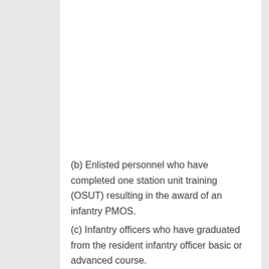(b) Enlisted personnel who have completed one station unit training (OSUT) resulting in the award of an infantry PMOS.
(c) Infantry officers who have graduated from the resident infantry officer basic or advanced course.